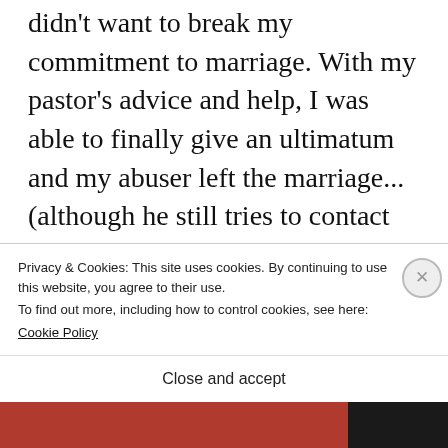didn't want to break my commitment to marriage. With my pastor's advice and help, I was able to finally give an ultimatum and my abuser left the marriage...(although he still tries to contact me, with no success of course.)
Dealing with a destructive relationship is hard enough, but dealing with divorce
Privacy & Cookies: This site uses cookies. By continuing to use this website, you agree to their use.
To find out more, including how to control cookies, see here:
Cookie Policy
Close and accept